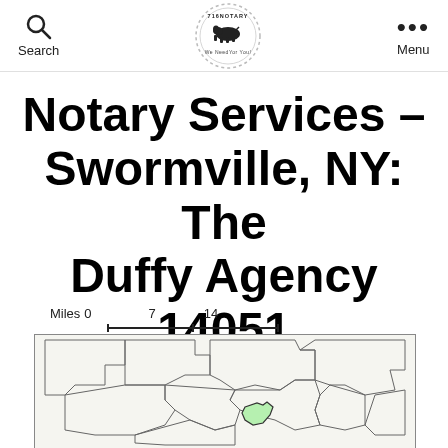Search | 716Notary logo | Menu
Notary Services – Swormville, NY: The Duffy Agency 14051
[Figure (map): Map of Swormville, NY area showing county/town boundaries with a highlighted green region indicating Swormville/14051 area. Scale bar shows 0, 7, 14 miles.]